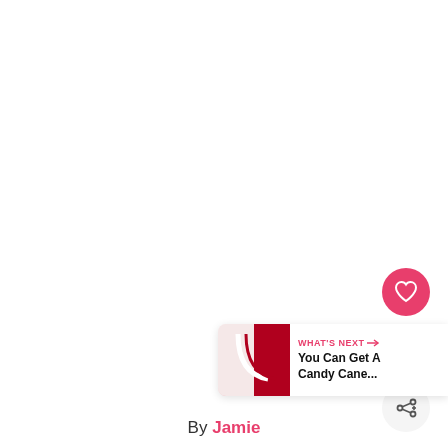[Figure (other): Like/heart button — circular pink/red button with white heart icon]
1
[Figure (other): Share button — circular light gray button with share icon]
[Figure (other): What's Next card with thumbnail and text: WHAT'S NEXT → / You Can Get A / Candy Cane...]
By Jamie